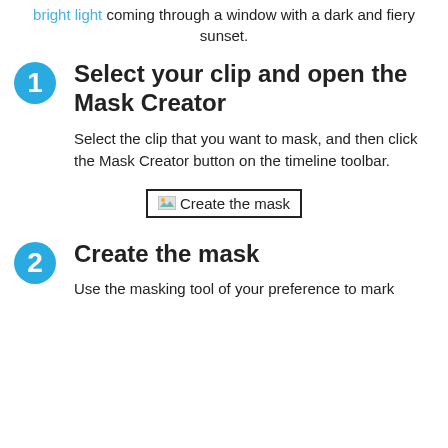bright light coming through a window with a dark and fiery sunset.
1. Select your clip and open the Mask Creator
Select the clip that you want to mask, and then click the Mask Creator button on the timeline toolbar.
[Figure (screenshot): Button labeled 'Create the mask' with a small image icon, inside a black border rectangle]
2. Create the mask
Use the masking tool of your preference to mark